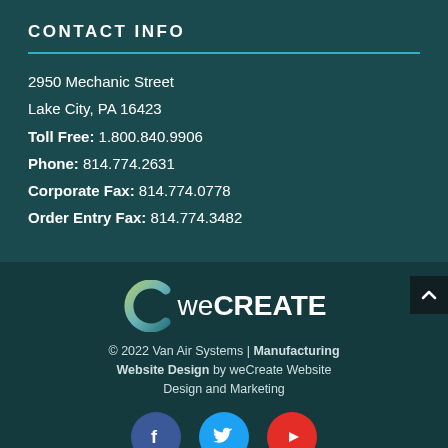CONTACT INFO
2950 Mechanic Street
Lake City, PA 16423
Toll Free: 1.800.840.9906
Phone: 814.774.2631
Corporate Fax: 814.774.0778
Order Entry Fax: 814.774.3482
[Figure (logo): weCreate logo with stylized C and text 'we CREATE']
© 2022 Van Air Systems | Manufacturing Website Design by weCreate Website Design and Marketing
[Figure (illustration): Social media icons: Facebook (blue), Twitter (cyan), YouTube (red)]